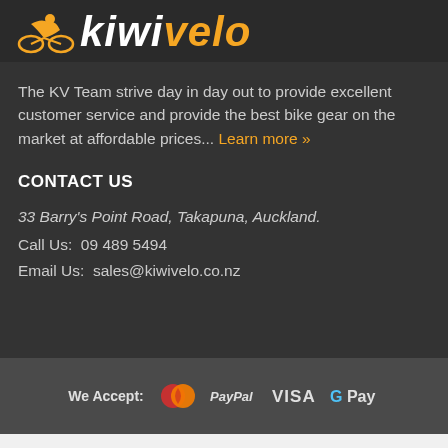[Figure (logo): Kiwivelo logo with orange cyclist icon and stylized text 'kiwivelo' in white and orange italic bold font]
The KV Team strive day in day out to provide excellent customer service and provide the best bike gear on the market at affordable prices... Learn more »
CONTACT US
33 Barry's Point Road, Takapuna, Auckland.
Call Us:  09 489 5494
Email Us:  sales@kiwivelo.co.nz
[Figure (infographic): Payment methods bar showing: We Accept: MasterCard, PayPal, VISA, G Pay logos]
Copyright © 2022, Kiwivelo. All Rights Reserved. Website by Goose 🔒 100% SSL Secure Transactions.